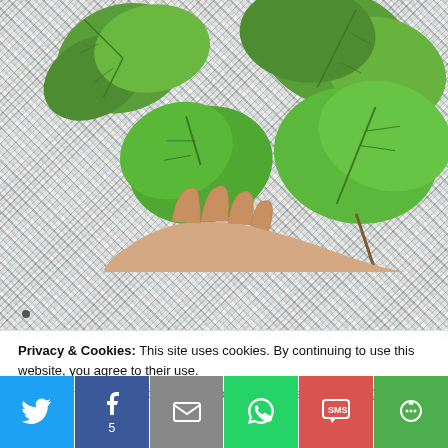[Figure (photo): A hand holding a small green plant with large rounded leaves against a background of shredded colorful paper/confetti]
Privacy & Cookies: This site uses cookies. By continuing to use this website, you agree to their use.
To find out more, including how to control cookies, see here: Cookie Policy
[Figure (infographic): Social sharing bar with Twitter, Facebook (5 shares), Email, WhatsApp, SMS, and More buttons]